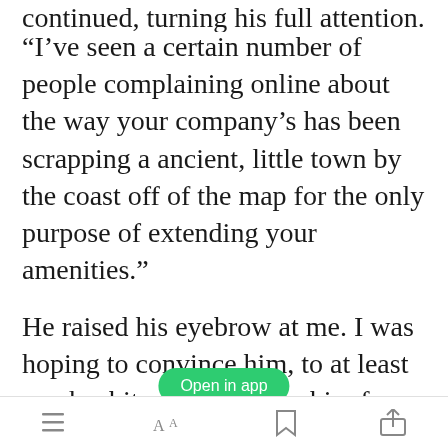continued, turning his full attention. “I’ve seen a certain number of people complaining online about the way your company’s has been scrapping a ancient, little town by the coast off of the map for the only purpose of extending your amenities.”
He raised his eyebrow at me. I was hoping to convince him, to at least spark a bit of curiosity in him for
[Figure (screenshot): Green 'Open in app' button overlay]